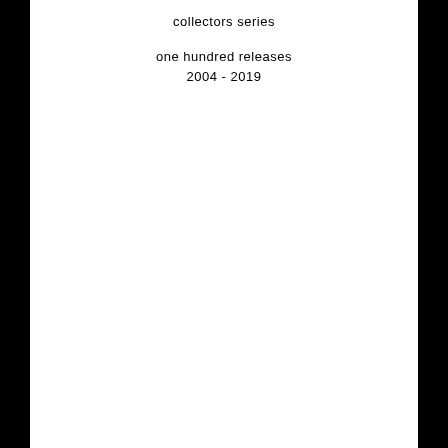collectors series
one hundred releases
2004 - 2019
Paul Khimasia Morgan   ***SOLD OUT***
Peoplegrowold (2018)
(confront collectors series ccs 84)
CONFRONT
RECORDINGS
collectors series
one hundred releases
2004 - 2019